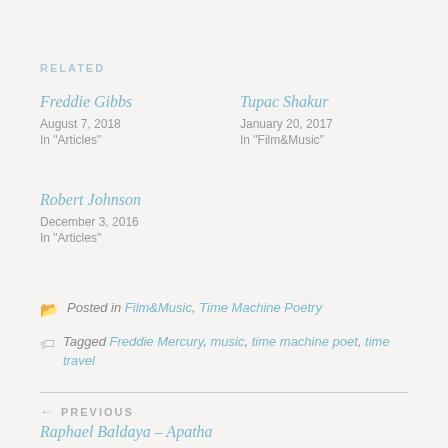RELATED
Freddie Gibbs
August 7, 2018
In "Articles"
Tupac Shakur
January 20, 2017
In "Film&Music"
Robert Johnson
December 3, 2016
In "Articles"
Posted in Film&Music, Time Machine Poetry
Tagged Freddie Mercury, music, time machine poet, time travel
← PREVIOUS
Raphael Baldaya – Apatha